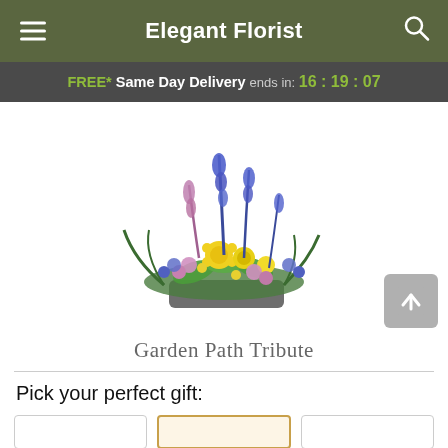Elegant Florist
FREE* Same Day Delivery ends in: 16 : 19 : 07
[Figure (photo): Floral arrangement called Garden Path Tribute: a wide, lush basket of mixed flowers including yellow spider mums, blue delphiniums, pink snapdragons, lavender alstroemeria, and greenery in a dark rectangular container.]
Garden Path Tribute
Pick your perfect gift: